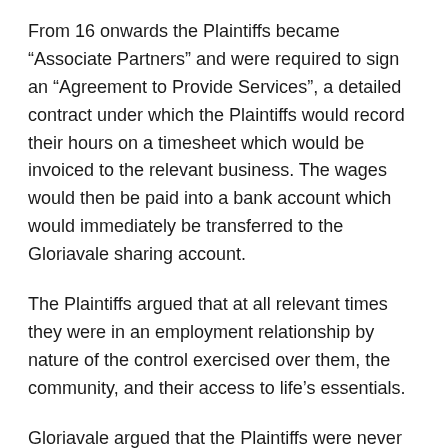From 16 onwards the Plaintiffs became “Associate Partners” and were required to sign an “Agreement to Provide Services”, a detailed contract under which the Plaintiffs would record their hours on a timesheet which would be invoiced to the relevant business. The wages would then be paid into a bank account which would immediately be transferred to the Gloriavale sharing account.
The Plaintiffs argued that at all relevant times they were in an employment relationship by nature of the control exercised over them, the community, and their access to life’s essentials.
Gloriavale argued that the Plaintiffs were never employees and that no contract for the provision of